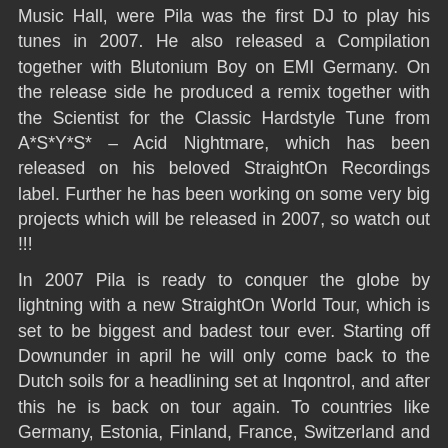Music Hall, were Pila was the first DJ to play his tunes in 2007. He also released a Compilation together with Blutonium Boy on EMI Germany. On the release side he produced a remix together with the Scientist for the Classic Hardstyle Tune from A*S*Y*S* – Acid Nightmare, which has been released on his beloved StraightOn Recordings label. Further he has been working on some very big projects which will be released in 2007, so watch out !!!
In 2007 Pila is ready to conquer the globe by lightning with a new StraightOn World Tour, which is set to be biggest and badest tour ever. Starting off Downunder in april he will only come back to the Dutch soils for a headlining set at Inqontrol, and after this he is back on tour again. To countries like Germany, Estonia, Finland, France, Switzerland and Italy to name a few. On the Production side he has been so busy with The Scientist, A*S*Y*S* and Hellraiser, that you can expect some real jewels very soon, unfortunately he cant say